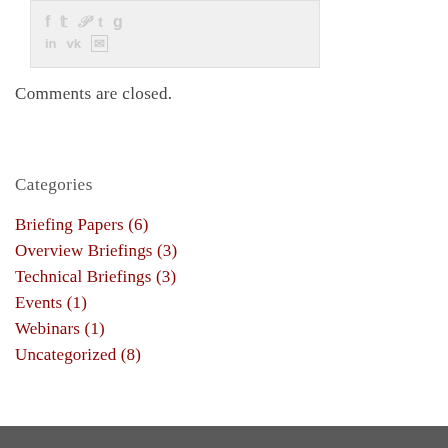[Figure (other): Social sharing icons row (Facebook, Twitter, Pinterest, Tumblr, Google+) and second row (LinkedIn, VK, Email) shown as light gray icons in a light gray box]
Comments are closed.
Categories
Briefing Papers (6)
Overview Briefings (3)
Technical Briefings (3)
Events (1)
Webinars (1)
Uncategorized (8)